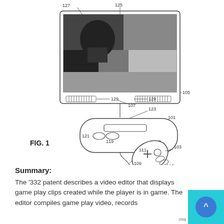[Figure (engineering-diagram): Patent Figure 1 showing a TV/monitor (105) with speaker grilles (129) and label 107 for center, connected by a cable to a Wii-style game controller (101, 123) with buttons 119, 121, 117 and nunchuk (103) with labels 111, 109, 113, 115. Reference numbers 125, 127 label parts of the screen.]
FIG. 1
Summary:
The '332 patent describes a video editor that displays game play clips created while the player is in game. The editor compiles game play video, records information about the clips and more.